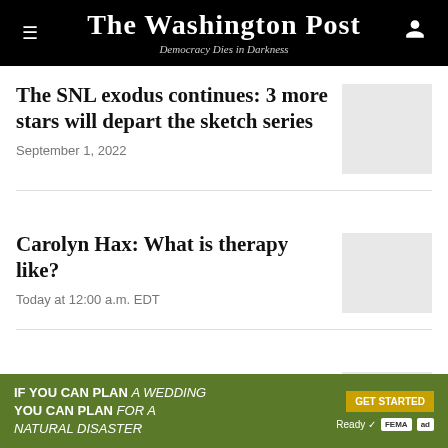The Washington Post — Democracy Dies in Darkness
The SNL exodus continues: 3 more stars will depart the sketch series
September 1, 2022
Carolyn Hax: What is therapy like?
Today at 12:00 a.m. EDT
MAGA Republicans are
[Figure (infographic): Advertisement banner: IF YOU CAN PLAN A WEDDING YOU CAN PLAN FOR A NATURAL DISASTER — GET STARTED. Ready FEMA ad logos.]